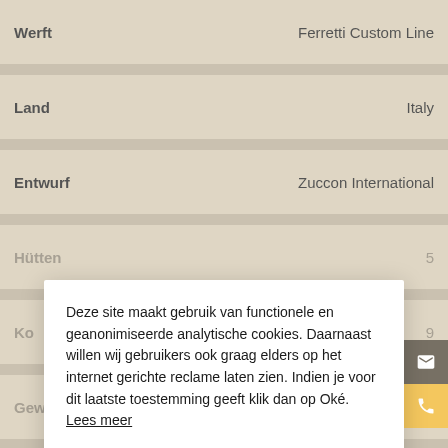| Eigenschap | Waarde |
| --- | --- |
| Werft | Ferretti Custom Line |
| Land | Italy |
| Entwurf | Zuccon International |
| Hütten | 5 |
| Kojen | 9 |
| Gewicht | 167+ |
| CE norm | C |
| Motoranzahl | 2 |
Deze site maakt gebruik van functionele en geanonimiseerde analytische cookies. Daarnaast willen wij gebruikers ook graag elders op het internet gerichte reclame laten zien. Indien je voor dit laatste toestemming geeft klik dan op Oké.  Lees meer
Liever niet | Oké